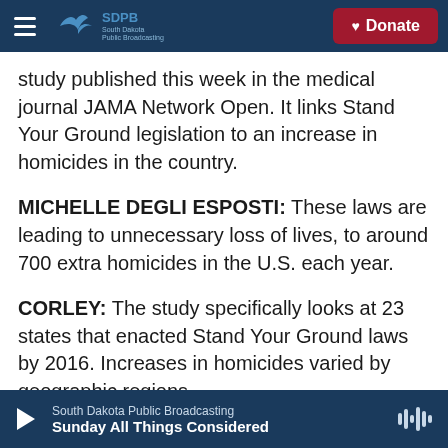SDPB South Dakota Public Broadcasting | Donate
study published this week in the medical journal JAMA Network Open. It links Stand Your Ground legislation to an increase in homicides in the country.
MICHELLE DEGLI ESPOSTI: These laws are leading to unnecessary loss of lives, to around 700 extra homicides in the U.S. each year.
CORLEY: The study specifically looks at 23 states that enacted Stand Your Ground laws by 2016. Increases in homicides varied by geographic regions.
South Dakota Public Broadcasting — Sunday All Things Considered